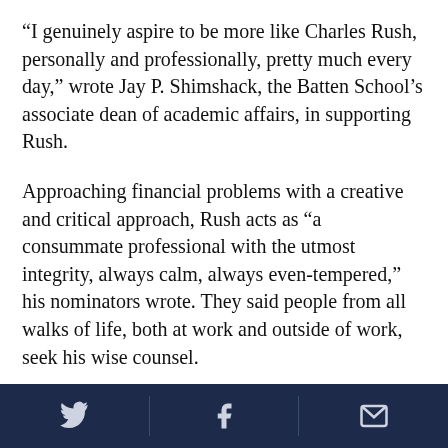“I genuinely aspire to be more like Charles Rush, personally and professionally, pretty much every day,” wrote Jay P. Shimshack, the Batten School’s associate dean of academic affairs, in supporting Rush.
Approaching financial problems with a creative and critical approach, Rush acts as “a consummate professional with the utmost integrity, always calm, always even-tempered,” his nominators wrote. They said people from all walks of life, both at work and outside of work, seek his wise counsel.
Rush has worked at UVA since 2001, in roles with the Procurement Office and Student Affairs before
Twitter | Facebook | Email